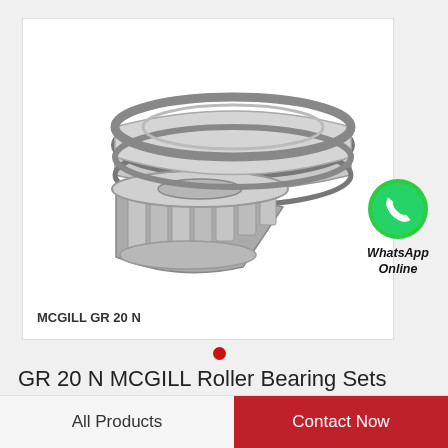[Figure (photo): MCGILL GR 20 N tapered roller bearing set showing cone and cup components, metal gray color]
MCGILL GR 20 N
[Figure (logo): WhatsApp green phone icon with text WhatsApp Online]
GR 20 N MCGILL Roller Bearing Sets
All Products   Contact Now